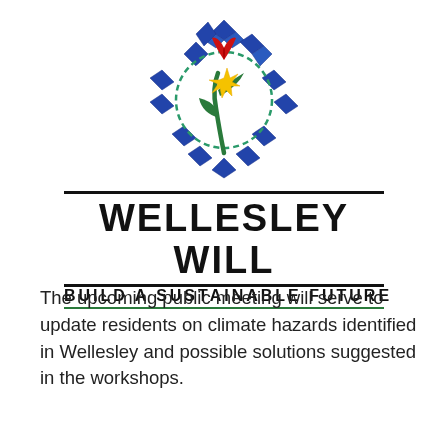[Figure (logo): Wellesley Will Build a Sustainable Future logo with a decorative blue geometric circle border containing a red tulip, yellow starburst flower and green leaves, with bold text WELLESLEY WILL and subtitle BUILD A SUSTAINABLE FUTURE]
The upcoming public meeting will serve to update residents on climate hazards identified in Wellesley and possible solutions suggested in the workshops.